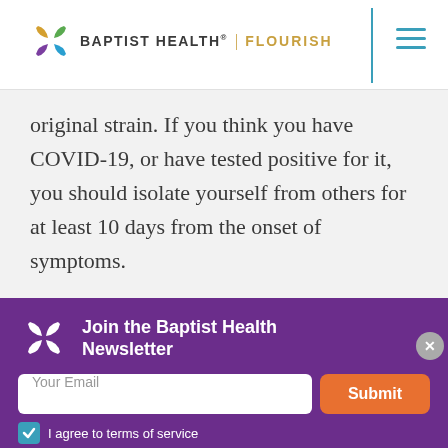[Figure (logo): Baptist Health Flourish logo with colorful pinwheel icon and navigation hamburger menu]
original strain. If you think you have COVID-19, or have tested positive for it, you should isolate yourself from others for at least 10 days from the onset of symptoms.
Join the Baptist Health Newsletter
Your Email
Submit
I agree to terms of service